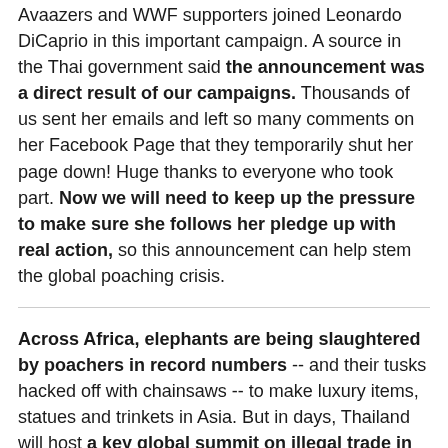Avaazers and WWF supporters joined Leonardo DiCaprio in this important campaign. A source in the Thai government said the announcement was a direct result of our campaigns. Thousands of us sent her emails and left so many comments on her Facebook Page that they temporarily shut her page down! Huge thanks to everyone who took part. Now we will need to keep up the pressure to make sure she follows her pledge up with real action, so this announcement can help stem the global poaching crisis.
Across Africa, elephants are being slaughtered by poachers in record numbers -- and their tusks hacked off with chainsaws -- to make luxury items, statues and trinkets in Asia. But in days, Thailand will host a key global summit on illegal trade in endangered species, giving us a rare chance to stop this futile massacre.
Thailand is the world's largest unregulated ivory market and a top driver of the illegal trade. They've been in the hot seat for years, yet so far little has been